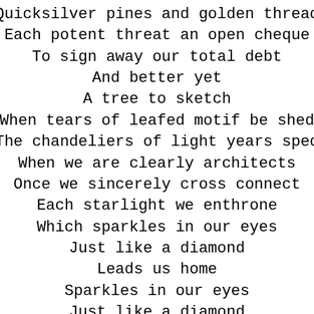Quicksilver pines and golden thread
Each potent threat an open cheque
To sign away our total debt
And better yet
A tree to sketch
When tears of leafed motif be shed
The chandeliers of light years sped
When we are clearly architects
Once we sincerely cross connect
Each starlight we enthrone
Which sparkles in our eyes
Just like a diamond
Leads us home
Sparkles in our eyes
Just like a diamond